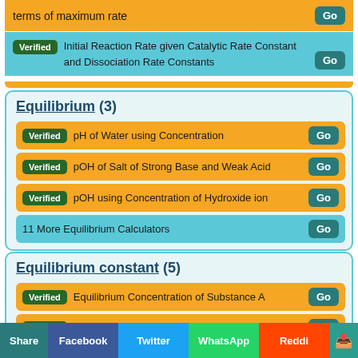terms of maximum rate
Verified  Initial Reaction Rate given Catalytic Rate Constant and Dissociation Rate Constants
Equilibrium (3)
Verified  pH of Water using Concentration
Verified  pOH of Salt of Strong Base and Weak Acid
Verified  pOH using Concentration of Hydroxide ion
11 More Equilibrium Calculators
Equilibrium constant (5)
Verified  Equilibrium Concentration of Substance A
Verified  Equilibrium concentration of substance B
Share  Facebook  Twitter  WhatsApp  Reddit